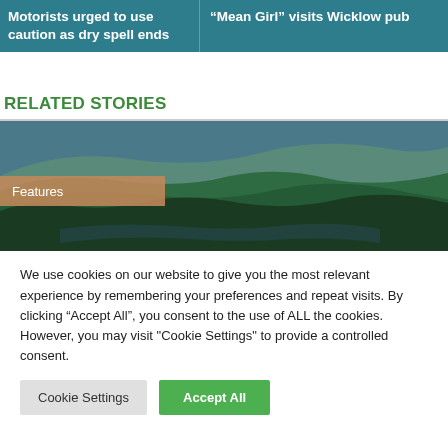Motorists urged to use caution as dry spell ends
“Mean Girl” visits Wicklow pub
RELATED STORIES
[Figure (photo): Landscape photo of forested hills and a lake/reservoir with a tan/brown overlay band labeled 'Features']
We use cookies on our website to give you the most relevant experience by remembering your preferences and repeat visits. By clicking “Accept All”, you consent to the use of ALL the cookies. However, you may visit "Cookie Settings" to provide a controlled consent.
Cookie Settings | Accept All